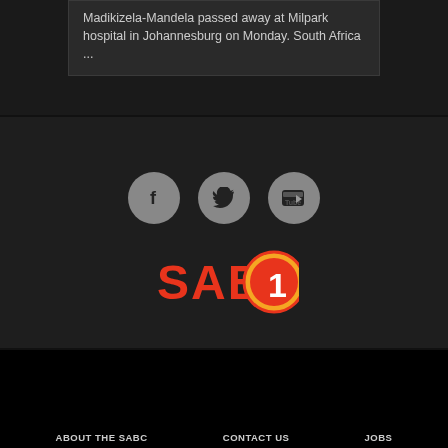Madikizela-Mandela passed away at Milpark hospital in Johannesburg on Monday. South Africa ...
[Figure (logo): Three social media icon buttons: Facebook, Twitter, YouTube — gray circles on dark background]
[Figure (logo): SABC 1 logo: red SABC text with orange circled number 1]
[Figure (logo): SABC logo with colorful Africa continent graphic (green, yellow, red stripes) and red play arrow]
[Figure (other): reCAPTCHA widget showing robot icon with Privacy and Terms text]
ABOUT THE SABC   CONTACT US   JOBS